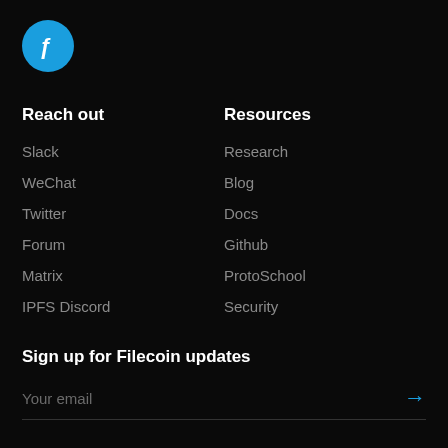[Figure (logo): Filecoin logo: blue circle with white stylized letter f (Filecoin symbol)]
Reach out
Slack
WeChat
Twitter
Forum
Matrix
IPFS Discord
Resources
Research
Blog
Docs
Github
ProtoSchool
Security
Sign up for Filecoin updates
Your email